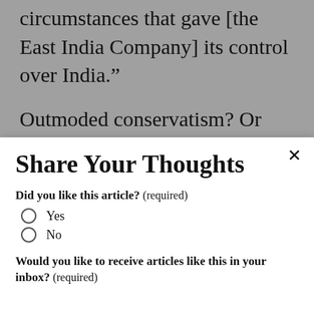circumstances that gave [the East India Company] its control over India.”
Outmoded conservatism? Or revolutionary critique? For obvious reasons, this strand of Gandhian thought sits uneasily with many
Share Your Thoughts
Did you like this article? (required)
Yes
No
Would you like to receive articles like this in your inbox? (required)